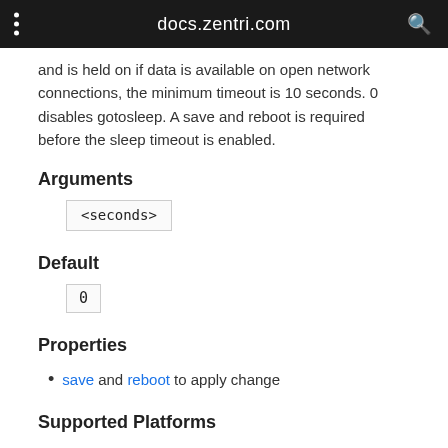docs.zentri.com
and is held on if data is available on open network connections, the minimum timeout is 10 seconds. 0 disables gotosleep. A save and reboot is required before the sleep timeout is enabled.
Arguments
<seconds>
Default
0
Properties
save and reboot to apply change
Supported Platforms
AMW004